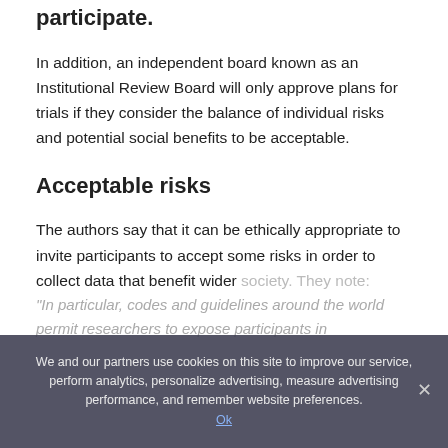participate.
In addition, an independent board known as an Institutional Review Board will only approve plans for trials if they consider the balance of individual risks and potential social benefits to be acceptable.
Acceptable risks
The authors say that it can be ethically appropriate to invite participants to accept some risks in order to collect data that benefit wider society. They note:
"In particular, codes and guidelines around the world permit researchers to expose participants in
We and our partners use cookies on this site to improve our service, perform analytics, personalize advertising, measure advertising performance, and remember website preferences.